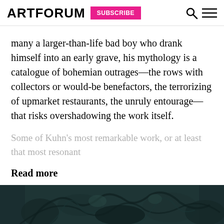ARTFORUM  SUBSCRIBE
many a larger-than-life bad boy who drank himself into an early grave, his mythology is a catalogue of bohemian outrages—the rows with collectors or would-be benefactors, the terrorizing of upmarket restaurants, the unruly entourage—that risks overshadowing the work itself.
Some of Kuhn's most remarkable work, or at least that most resonant
Read more
[Figure (photo): Dark artistic photograph showing organic forms, possibly roots or natural textures, in teal/dark tones, partially visible at bottom of page.]